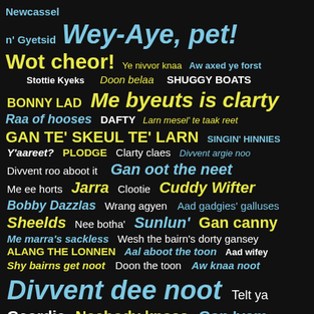[Figure (infographic): Geordie dialect phrases word cloud on black background in blue, yellow and white text of varying sizes]
Newcassel n' Gyetsid Wey-Aye, pet! Wot cheor! Ye nivvor knaa Aw axed ye forst Doon belaa SHUGGY BOATS Stottie Kyeks BONNY LAD Me byeuts is clarty Raa of hooses DAFTY Larn mesel' te taak reet GAN TE' SKEUL TE' LARN SINGIN' HINNIES Y'aareet? PLODGE Clarty claes Divvent argie noo Divvent roo aboot it Gan oot the neet Me ee horts Jarra Clootie Cuddy Wifter Bobby Dazzlas Wrang agyen Aad gadgies' galluses Sheelds Nee botha' Sunlun' Gan canny Me marra's sackless Wesh the bairn's dorty gansey ALANG THE LONNEN Aal aboot the toon Aad wifey Shy bairns get noot Doon the toon Aw knaa noot Divvent dee noot Telt ya Geordie Neebody knaas Gan 'yem BLACK BULLETS : CANNY KETS Workie tickets